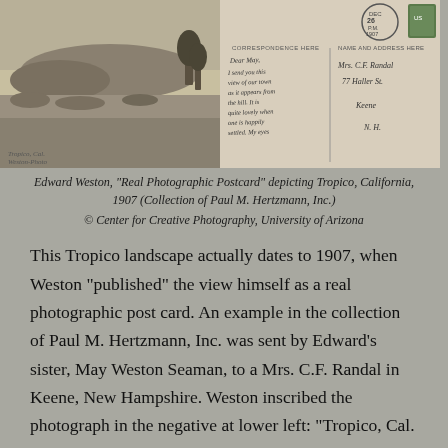[Figure (photo): Two historical photographs side by side: left shows a landscape photograph of Tropico, California; right shows the back of a postcard with handwritten correspondence addressed to Mrs. C.F. Randal in Keene, N.H.]
Edward Weston, "Real Photographic Postcard" depicting Tropico, California, 1907 (Collection of Paul M. Hertzmann, Inc.) © Center for Creative Photography, University of Arizona
This Tropico landscape actually dates to 1907, when Weston "published" the view himself as a real photographic post card. An example in the collection of Paul M. Hertzmann, Inc. was sent by Edward's sister, May Weston Seaman, to a Mrs. C.F. Randal in Keene, New Hampshire. Weston inscribed the photograph in the negative at lower left: "Tropico, Cal. / Weston-Photo;" it is postmarked "TROPICO, / DEC / 26 / P.M. / 1907;" and hand